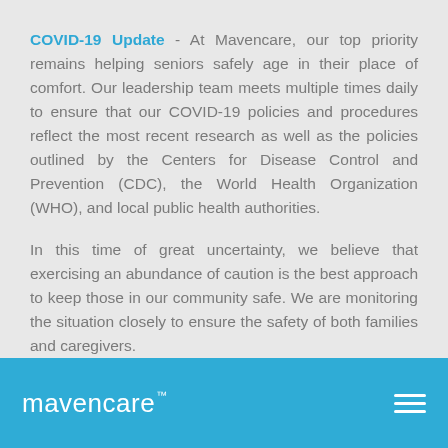COVID-19 Update - At Mavencare, our top priority remains helping seniors safely age in their place of comfort. Our leadership team meets multiple times daily to ensure that our COVID-19 policies and procedures reflect the most recent research as well as the policies outlined by the Centers for Disease Control and Prevention (CDC), the World Health Organization (WHO), and local public health authorities.
In this time of great uncertainty, we believe that exercising an abundance of caution is the best approach to keep those in our community safe. We are monitoring the situation closely to ensure the safety of both families and caregivers.
See how we're helping here.
[Figure (logo): Mavencare logo in white text on blue background with TM superscript, and a hamburger menu icon on the right]